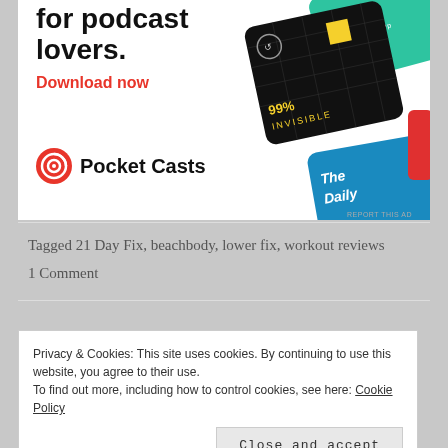[Figure (infographic): Pocket Casts podcast app advertisement showing app icon cards for '99% Invisible' and 'The Daily', with bold headline text cut off at top reading 'for podcast lovers.', a red 'Download now' call to action, and the Pocket Casts logo (red spiral icon) with text 'Pocket Casts'. Small gray text 'REPORT THIS AD' in bottom right.]
Tagged 21 Day Fix, beachbody, lower fix, workout reviews
1 Comment
Privacy & Cookies: This site uses cookies. By continuing to use this website, you agree to their use.
To find out more, including how to control cookies, see here: Cookie Policy
Close and accept